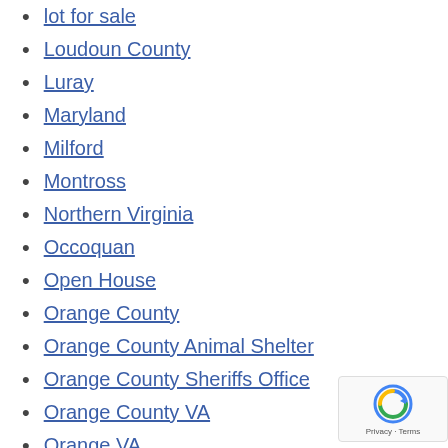lot for sale
Loudoun County
Luray
Maryland
Milford
Montross
Northern Virginia
Occoquan
Open House
Orange County
Orange County Animal Shelter
Orange County Sheriffs Office
Orange County VA
Orange VA
Pet Liesto